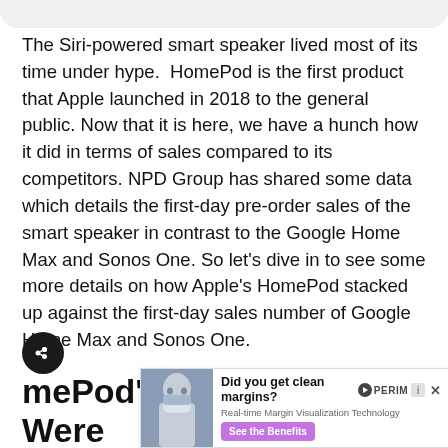The Siri-powered smart speaker lived most of its time under hype. HomePod is the first product that Apple launched in 2018 to the general public. Now that it is here, we have a hunch how it did in terms of sales compared to its competitors. NPD Group has shared some data which details the first-day pre-order sales of the smart speaker in contrast to the Google Home Max and Sonos One. So let's dive in to see some more details on how Apple's HomePod stacked up against the first-day sales number of Google Home Max and Sonos One.
HomePod's First Day Sales Were Higher Than Google Home Max And...
[Figure (screenshot): Advertisement banner: Did you get clean margins? - PERIM logo with play button - Real-time Margin Visualization Technology - See the Benefits button in purple. Left side shows a person wearing a medical mask.]